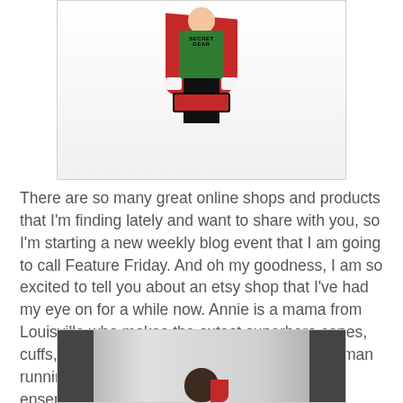[Figure (photo): A child wearing a green hoodie with 'SECRET GEAR' text, red cuffs, and a red and black cape, holding the cuffs crossed over their chest. The child's head is not visible (cropped). Full body shot on white background.]
There are so many great online shops and products that I'm finding lately and want to share with you, so I'm starting a new weekly blog event that I am going to call Feature Friday. And oh my goodness, I am so excited to tell you about an etsy shop that I've had my eye on for a while now. Annie is a mama from Louisville who makes the cutest superhero capes, cuffs, and masks. Can't you just see your little man running around saving the day in this adorable ensemble?
[Figure (photo): A child with dark hair seen from behind, wearing a red cape. Two dark door frames visible on left and right edges of the frame. Background shows an outdoor scene.]